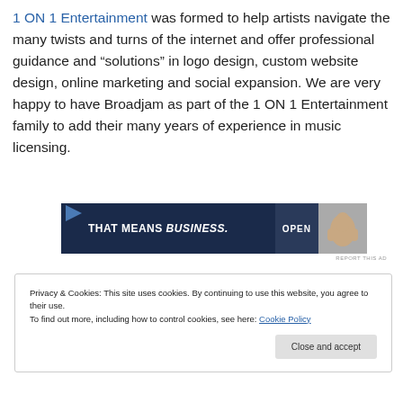1 ON 1 Entertainment was formed to help artists navigate the many twists and turns of the internet and offer professional guidance and “solutions” in logo design, custom website design, online marketing and social expansion. We are very happy to have Broadjam as part of the 1 ON 1 Entertainment family to add their many years of experience in music licensing.
[Figure (other): Advertisement banner with dark blue background showing 'THAT MEANS BUSINESS.' text and 'OPEN' text with a hand image on the right]
Privacy & Cookies: This site uses cookies. By continuing to use this website, you agree to their use.
To find out more, including how to control cookies, see here: Cookie Policy
Close and accept